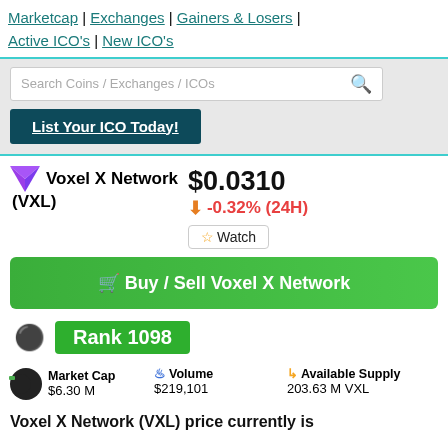Marketcap | Exchanges | Gainers & Losers | Active ICO's | New ICO's
Search Coins / Exchanges / ICOs
List Your ICO Today!
Voxel X Network (VXL)
$0.0310
↓ -0.32% (24H)
☆Watch
🛒 Buy / Sell Voxel X Network
Rank 1098
Market Cap $6.30 M
Volume $219,101
Available Supply 203.63 M VXL
Voxel X Network (VXL) price currently is